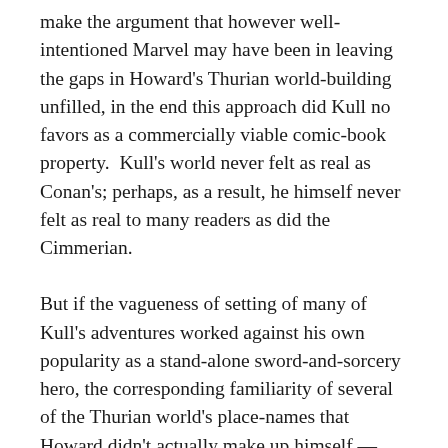make the argument that however well-intentioned Marvel may have been in leaving the gaps in Howard's Thurian world-building unfilled, in the end this approach did Kull no favors as a commercially viable comic-book property.  Kull's world never felt as real as Conan's; perhaps, as a result, he himself never felt as real to many readers as did the Cimmerian.
But if the vagueness of setting of many of Kull's adventures worked against his own popularity as a stand-alone sword-and-sorcery hero, the corresponding familiarity of several of the Thurian world's place-names that Howard didn't actually make up himself —